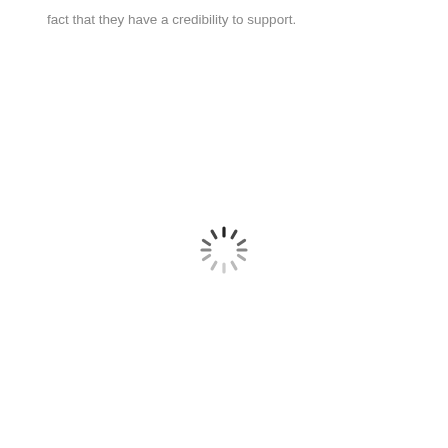fact that they have a credibility to support.
[Figure (other): Loading spinner icon — a circular arrangement of short radial lines fading from dark (top) to light (sides), indicating a loading/waiting state.]